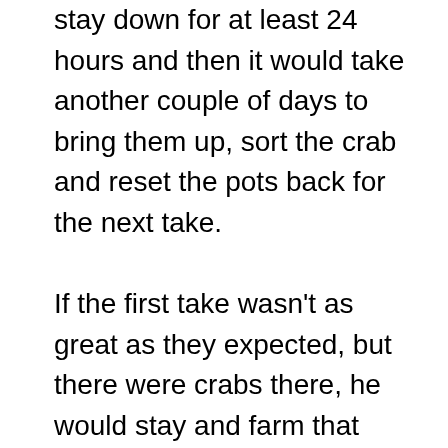stay down for at least 24 hours and then it would take another couple of days to bring them up, sort the crab and reset the pots back for the next take.

If the first take wasn't as great as they expected, but there were crabs there, he would stay and farm that location. He would choose to not lose days repositioning, not waste fuel, food, and water by chasing a potential mega load, instead taking the actual good load. By staying the